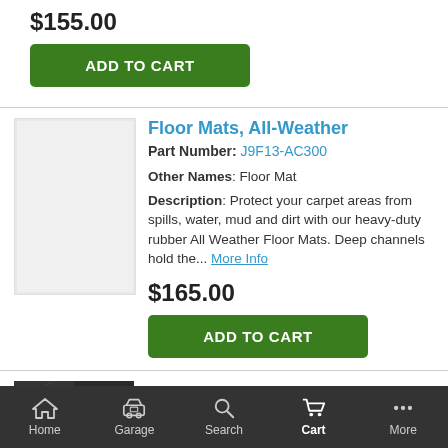$155.00
ADD TO CART
Floor Mats, All-Weather
Part Number: J9F13-AC300
Other Names: Floor Mat
Description: Protect your carpet areas from spills, water, mud and dirt with our heavy-duty rubber All Weather Floor Mats. Deep channels hold the... More Info
$165.00
ADD TO CART
Floor Mats, All Weather
Part Number: 2V013-ADU00
Home  Garage  Search  Cart  More